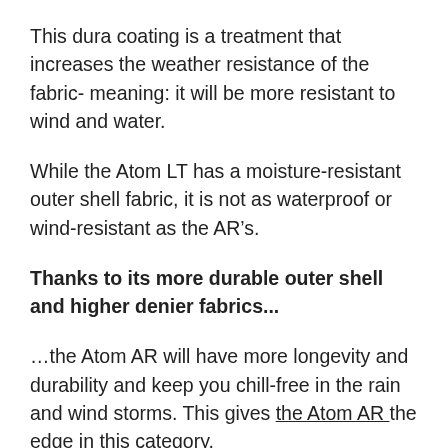This dura coating is a treatment that increases the weather resistance of the fabric- meaning: it will be more resistant to wind and water.
While the Atom LT has a moisture-resistant outer shell fabric, it is not as waterproof or wind-resistant as the AR’s.
Thanks to its more durable outer shell and higher denier fabrics...
…the Atom AR will have more longevity and durability and keep you chill-free in the rain and wind storms. This gives the Atom AR the edge in this category.